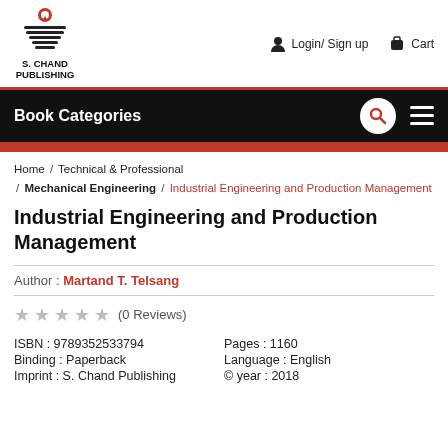[Figure (logo): S. Chand Publishing logo with stacked lines and a heart/pin icon above open book]
Login/ Sign up
Cart
Book Categories
Home / Technical & Professional / Mechanical Engineering / Industrial Engineering and Production Management
Industrial Engineering and Production Management
Author : Martand T. Telsang
★ ★ ★ ★ ★ (0 Reviews)
| ISBN : 9789352533794 | Pages : 1160 |
| Binding : Paperback | Language : English |
| Imprint : S. Chand Publishing | © year : 2018 |